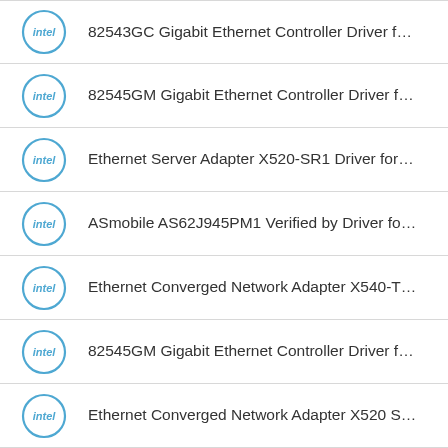82543GC Gigabit Ethernet Controller Driver f…
82545GM Gigabit Ethernet Controller Driver f…
Ethernet Server Adapter X520-SR1 Driver for…
ASmobile AS62J945PM1 Verified by Driver fo…
Ethernet Converged Network Adapter X540-T…
82545GM Gigabit Ethernet Controller Driver f…
Ethernet Converged Network Adapter X520 S…